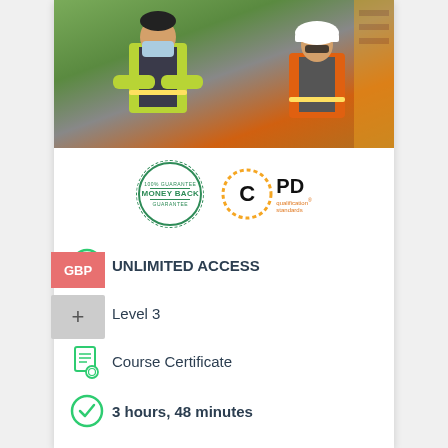[Figure (photo): Two workers in high-visibility vests in an industrial setting. One wears a green vest and face mask, the other wears an orange vest and white hard hat.]
[Figure (other): 100% Guarantee Money Back stamp badge (green circular stamp) and CPD qualification standards badge (black C with orange dotted circle).]
UNLIMITED ACCESS
Level 3
Course Certificate
3 hours, 48 minutes